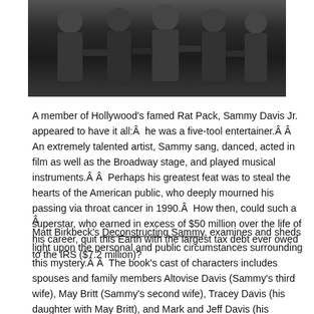[Figure (photo): Black and white photograph of a group of men in formal suits, cropped at top, appearing to be at a social event or gathering.]
A member of Hollywood's famed Rat Pack, Sammy Davis Jr. appeared to have it all:Â  he was a five-tool entertainer.Â Â  An extremely talented artist, Sammy sang, danced, acted in film as well as the Broadway stage, and played musical instruments.Â Â  Perhaps his greatest feat was to steal the hearts of the American public, who deeply mourned his passing via throat cancer in 1990.Â  How then, could such a superstar, who earned in excess of $50 million over the life of his career, quit this Earth with the largest tax debt ever owed to the IRS ($7.2 million)?
Â
Matt Birkbeck's Deconstructing Sammy, examines and sheds light upon the personal and public circumstances surrounding this mystery.Â Â  The book's cast of characters includes spouses and family members Altovise Davis (Sammy's third wife), May Britt (Sammy's second wife), Tracey Davis (his daughter with May Britt), and Mark and Jeff Davis (his adopted sons).Â  No biography of Sammy Davis, Jr., however, would be complete without references to the noted